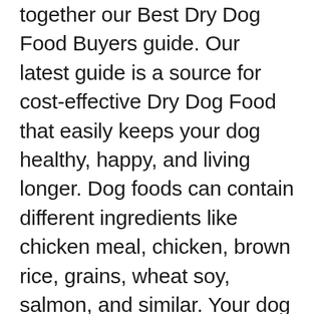together our Best Dry Dog Food Buyers guide. Our latest guide is a source for cost-effective Dry Dog Food that easily keeps your dog healthy, happy, and living longer. Dog foods can contain different ingredients like chicken meal, chicken, brown rice, grains, wheat soy,  salmon, and similar. Your dog says in his own way that it doesn't like chicken? There are different recipes and formulas, some options contain the limited ingredient. Low-quality food will not provide a protein source that is necessary for a small breed, for example. Dogs with food allergies can also feed with food